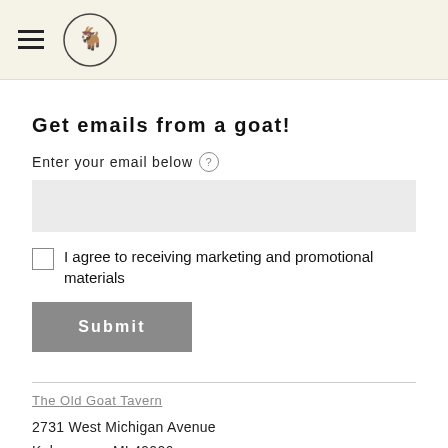The Old Goat Tavern - navigation header with logo
Get emails from a goat!
Enter your email below
I agree to receiving marketing and promotional materials
Submit
The Old Goat Tavern
2731 West Michigan Avenue
Kalamazoo, MI 49006